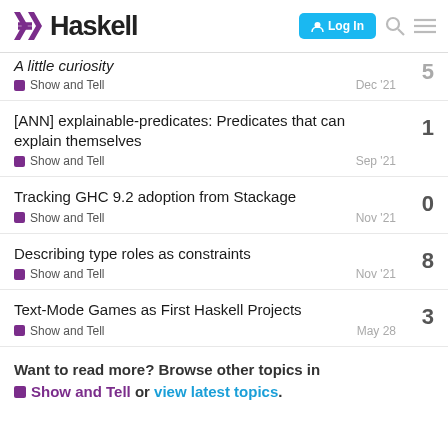Haskell - Log In
A little curiosity — Show and Tell — Dec '21
[ANN] explainable-predicates: Predicates that can explain themselves — Show and Tell — Sep '21 — replies: 1
Tracking GHC 9.2 adoption from Stackage — Show and Tell — Nov '21 — replies: 0
Describing type roles as constraints — Show and Tell — Nov '21 — replies: 8
Text-Mode Games as First Haskell Projects — Show and Tell — May 28 — replies: 3
Want to read more? Browse other topics in Show and Tell or view latest topics.